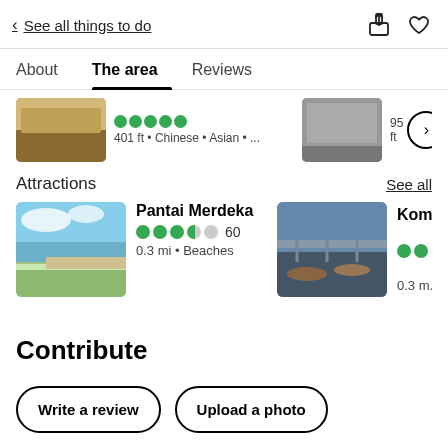< See all things to do
About   The area   Reviews
401 ft • Chinese • Asian • ...
95 ft
Attractions
See all
Pantai Merdeka
60
0.3 mi • Beaches
Kompleks
0.3 mi
Contribute
Write a review
Upload a photo